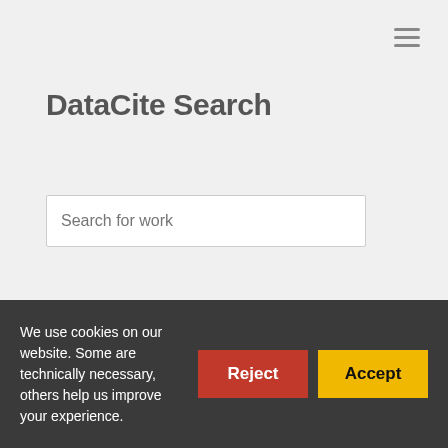[Figure (other): Hamburger menu icon (three horizontal lines) in the top right corner]
DataCite Search
Search for work
16 Works
Det tørl: Frozen-Ground
We use cookies on our website. Some are technically necessary, others help us improve your experience.
Reject
Accept